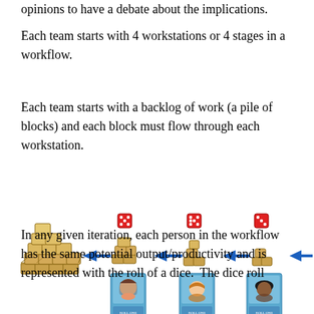opinions to have a debate about the implications.
Each team starts with 4 workstations or 4 stages in a workflow.
Each team starts with a backlog of work (a pile of blocks) and each block must flow through each workstation.
[Figure (illustration): Workflow diagram showing a pile of blocks (backlog) on the left, followed by four workstations each with a dice above and a person card below, connected by blue arrows, with a single block output on the right.]
In any given iteration, each person in the workflow has the same potential output/productivity and is represented with the roll of a dice.  The dice roll